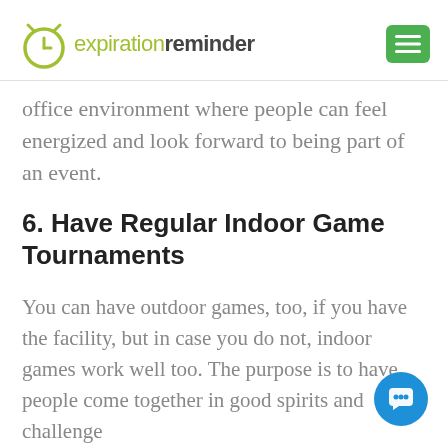expirationreminder
office environment where people can feel energized and look forward to being part of an event.
6. Have Regular Indoor Game Tournaments
You can have outdoor games, too, if you have the facility, but in case you do not, indoor games work well too. The purpose is to have people come together in good spirits and challenge